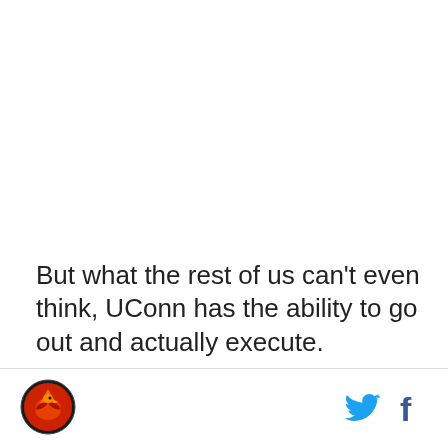But what the rest of us can't even think, UConn has the ability to go out and actually execute.
[Figure (logo): Circular sports logo with a stylized bird/hawk in red, orange and dark tones]
[Figure (logo): Twitter bird icon in cyan/blue color]
[Figure (logo): Facebook 'f' icon in blue color]